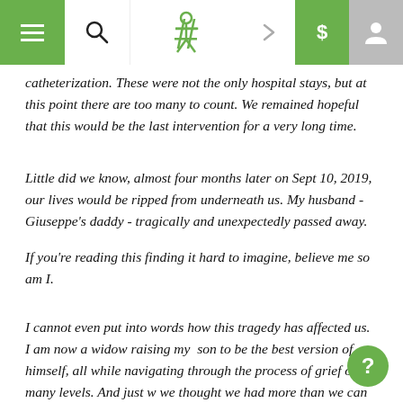Navigation bar with hamburger menu, search icon, logo, arrow, dollar sign, and user icon
catheterization. These were not the only hospital stays, but at this point there are too many to count. We remained hopeful that this would be the last intervention for a very long time.
Little did we know, almost four months later on Sept 10, 2019, our lives would be ripped from underneath us. My husband - Giuseppe's daddy - tragically and unexpectedly passed away.
If you're reading this finding it hard to imagine, believe me so am I.
I cannot even put into words how this tragedy has affected us. I am now a widow raising my son to be the best version of himself, all while navigating through the process of grief on many levels. And just w we thought we had more than we can handle, Giuseppe also has